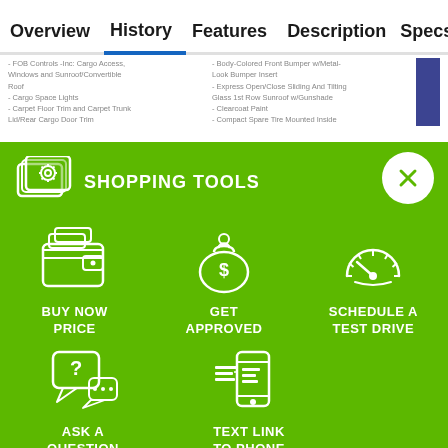Overview  History  Features  Description  Specs  Sim
- FOB Controls -Inc: Cargo Access, Windows and Sunroof/Convertible Roof
- Cargo Space Lights
- Carpet Floor Trim and Carpet Trunk Lid/Rear Cargo Door Trim
- Body-Colored Front Bumper w/Metal-Look Bumper Insert
- Express Open/Close Sliding And Tilting Glass 1st Row Sunroof w/Gunshade
- Clearcoat Paint
- Compact Spare Tire Mounted Inside
[Figure (infographic): Green shopping tools panel with icon and text SHOPPING TOOLS, close button (X), and three tool options: BUY NOW PRICE (wallet icon), GET APPROVED (money bag icon), SCHEDULE A TEST DRIVE (speedometer icon), ASK A QUESTION (chat bubbles icon), TEXT LINK TO PHONE (phone icon)]